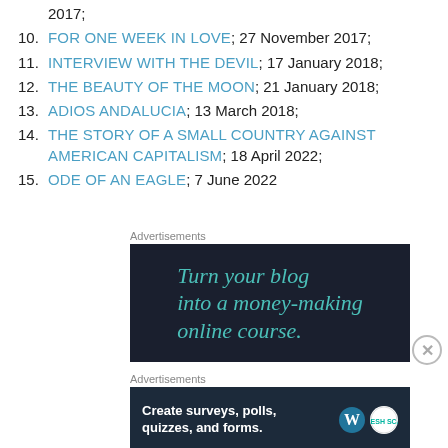2017;
10. FOR ONE WEEK IN LOVE; 27 November 2017;
11. INTERVIEW WITH THE DEVIL; 17 January 2018;
12. THE BEAUTY OF THE MOON; 21 January 2018;
13. ADIOS ANDALUCIA; 13 March 2018;
14. THE STORY OF A SMALL COUNTRY AGAINST AMERICAN CAPITALISM; 18 April 2022;
15. ODE OF AN EAGLE; 7 June 2022
[Figure (screenshot): Advertisement banner: dark background with teal text 'Turn your blog into a money-making online course.']
[Figure (screenshot): Advertisement banner: dark navy background with white bold text 'Create surveys, polls, quizzes, and forms.' with WordPress and SurveyMonkey logos.]